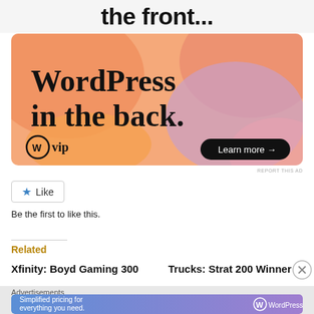the front...
[Figure (illustration): WordPress VIP advertisement banner with orange/pink/purple gradient blobs background. Large text 'WordPress in the back.' with WordPress VIP logo bottom-left and a dark 'Learn more →' button bottom-right.]
REPORT THIS AD
[Figure (other): Like button with blue star icon and 'Like' label inside a rounded rectangle border]
Be the first to like this.
Related
Xfinity: Boyd Gaming 300
Trucks: Strat 200 Winner
Advertisements
[Figure (illustration): WordPress.com advertisement banner with blue/purple gradient. Text: 'Simplified pricing for everything you need.' with WordPress.com logo on the right.]